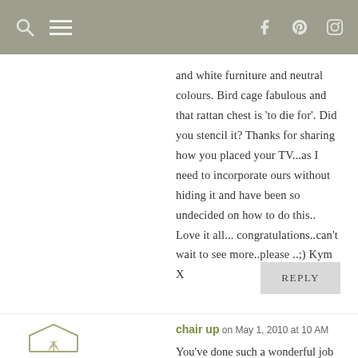and white furniture and neutral colours. Bird cage fabulous and that rattan chest is 'to die for'. Did you stencil it? Thanks for sharing how you placed your TV...as I need to incorporate ours without hiding it and have been so undecided on how to do this.. Love it all... congratulations..can't wait to see more..please ..;) Kym X
REPLY
chair up on May 1, 2010 at 10 AM
You've done such a wonderful job